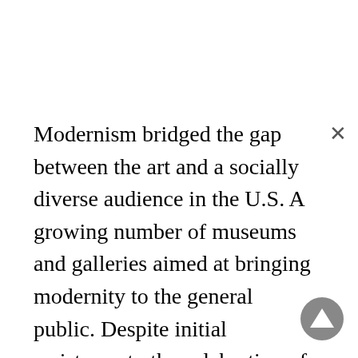Modernism bridged the gap between the art and a socially diverse audience in the U.S. A growing number of museums and galleries aimed at bringing modernity to the general public. Despite initial resistance to the celebration of progress, technology, and urban life, the visual arts contributed enormously to the self-consciousness and awareness of the American people. New modernist painting shined a light on the emotional and psychic states of the audience, which was fundamental to the formation of an American identity.